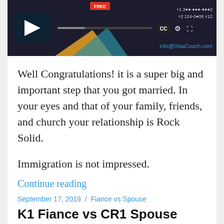[Figure (screenshot): Video player screenshot showing a dark-themed video player with play button, progress bar, CC/settings/expand controls, phone contact numbers top right, and info@VisaCoach.com email link bottom right. Orange and teal decorative book shapes in lower left area.]
Well Congratulations! it is a super big and important step that you got married. In your eyes and that of your family, friends, and church your relationship is Rock Solid.
Immigration is not impressed.
Continue reading
September 17, 2019 / Fiance vs Spouse
K1 Fiance vs CR1 Spouse Visa Process: Explained